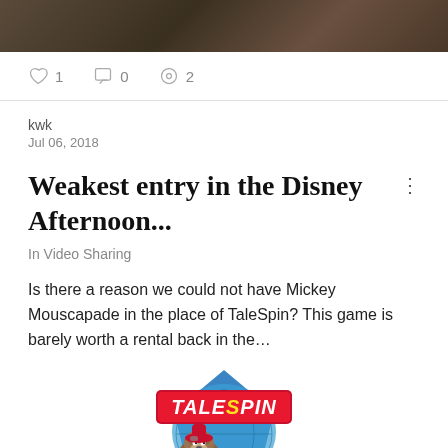[Figure (photo): Dark colored screenshot of a video game showing a character with a weapon]
♡ 1   □ 0   ◎ 2
kwk
Jul 06, 2018
Weakest entry in the Disney Afternoon...
In Video Sharing
Is there a reason we could not have Mickey Mouscapade in the place of TaleSpin? This game is barely worth a rental back in the…
[Figure (logo): TaleSpin animated series logo with bear character Baloo flying a plane]